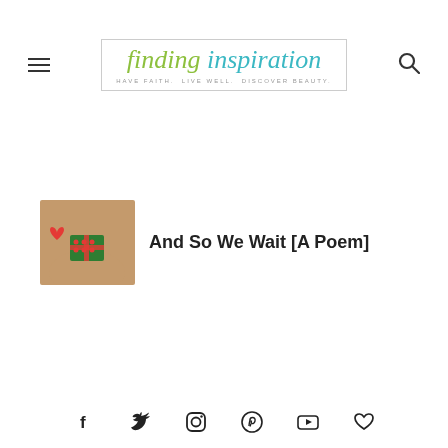finding inspiration — HAVE FAITH. LIVE WELL. DISCOVER BEAUTY.
[Figure (photo): Hand holding a red heart and a small gift with a bow]
And So We Wait [A Poem]
Social icons: Facebook, Twitter, Instagram, Pinterest, YouTube, Heart/Bloglovin